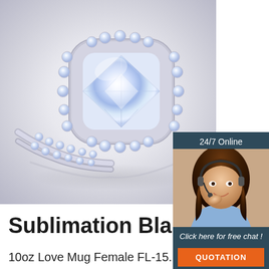[Figure (photo): Close-up photo of a diamond halo engagement ring set with a cushion-cut center diamond surrounded by smaller round diamonds, on a white background]
[Figure (infographic): 24/7 Online chat widget showing a woman with a headset smiling, with text 'Click here for free chat!' and an orange QUOTATION button, on a dark navy background]
[Figure (logo): TOP logo with orange triangle made of dots above the word TOP in orange text]
Sublimation Blanks
10oz Love Mug Female FL-15. Ceramic Mug, 10 oz,